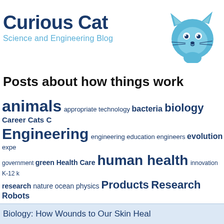[Figure (logo): Curious Cat Science and Engineering Blog logo with blue cat illustration and dark blue bold text]
Posts about how things work
[Figure (infographic): Tag cloud with topics: animals, appropriate technology, bacteria, biology, Career, Cats, Engineering, engineering education, engineers, evolution, expe[riments], government, green, Health Care, human health, innovation, K-12, k[nowledge], research, nature, ocean, physics, Products, Research, Robots, science explained, science facts, science webcasts, scie[nce], Technology, university research, USA, water, webcasts]
Biology: How Wounds to Our Skin Heal